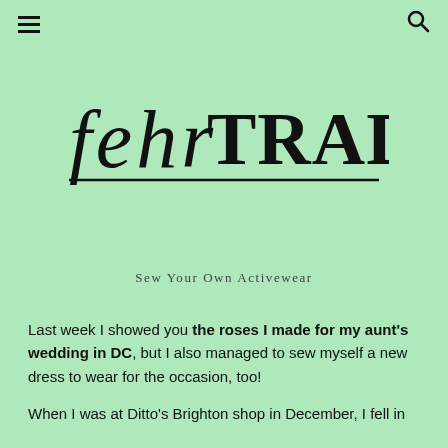≡  🔍
[Figure (logo): fehr TRADE logo — 'fehr' in italic script and 'TRADE' in decorative block capitals, with a horizontal rule beneath]
Sew Your Own Activewear
Last week I showed you the roses I made for my aunt's wedding in DC, but I also managed to sew myself a new dress to wear for the occasion, too!
When I was at Ditto's Brighton shop in December, I fell in